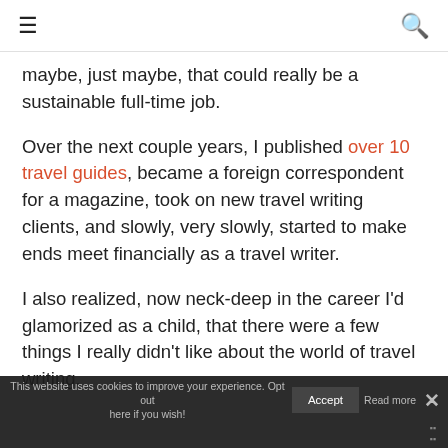≡  🔍
maybe, just maybe, that could really be a sustainable full-time job.
Over the next couple years, I published over 10 travel guides, became a foreign correspondent for a magazine, took on new travel writing clients, and slowly, very slowly, started to make ends meet financially as a travel writer.
I also realized, now neck-deep in the career I'd glamorized as a child, that there were a few things I really didn't like about the world of travel writing.
This website uses cookies to improve your experience. Opt out here if you wish!  Accept  Read more  ×